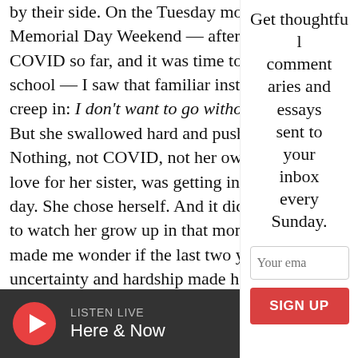by their side. On the Tuesday morning Memorial Day Weekend — after she' COVID so far, and it was time to head school — I saw that familiar instinct creep in: I don't want to go without her. But she swallowed hard and pushed. Nothing, not COVID, not her own fear, love for her sister, was getting in the way day. She chose herself. And it did my heart to watch her grow up in that moment. It made me wonder if the last two years of uncertainty and hardship made her could adapt to this, too.
Get thoughtful commentaries and essays sent to your inbox every Sunday.
[Figure (other): Email input field with placeholder 'Your email' and a red SIGN UP button]
[Figure (other): Dark bottom bar with red play button circle and LISTEN LIVE / Here & Now text]